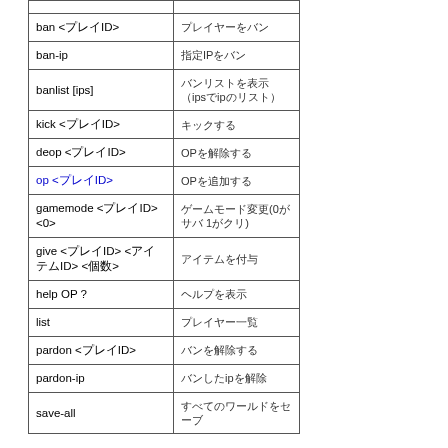| コマンド | 説明 |
| --- | --- |
|  |  |
| ban <プレイID> | プレイヤーをバン |
| ban-ip | 指定IPをバン |
| banlist [ips] | バンリストを表示（ipsでipのリスト） |
| kick <プレイID> | キックする |
| deop <プレイID> | OPを解除する |
| op <プレイID> | OPを追加する |
| gamemode <プレイID> <0> | ゲームモード変更(0がサバ 1がクリ) |
| give <プレイID> <アイテムID> <個数> | アイテムを付与 |
| help OP ? | ヘルプを表示 |
| list | プレイヤー一覧 |
| pardon <プレイID> | バンを解除する |
| pardon-ip | バンしたipを解除 |
| save-all | すべてのワールドをセーブ |